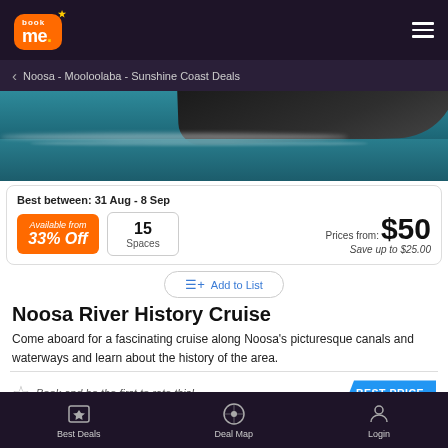book me (logo) — navigation header
Noosa - Mooloolaba - Sunshine Coast Deals
[Figure (photo): Boat or whale on teal water, partial view of hull above waterline with white foam wake]
Best between: 31 Aug - 8 Sep
Available from 33% Off
15 Spaces
Prices from: $50 Save up to $25.00
Add to List
Noosa River History Cruise
Come aboard for a fascinating cruise along Noosa's picturesque canals and waterways and learn about the history of the area.
Book and be the first to rate this!
BEST PRICE
Best Deals   Deal Map   Login